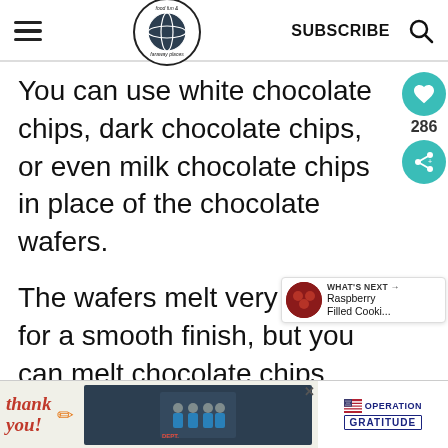food fun & faraway places — SUBSCRIBE
You can use white chocolate chips, dark chocolate chips, or even milk chocolate chips in place of the chocolate wafers.
The wafers melt very easily for a smooth finish, but you can melt chocolate chips pretty easily, too.
[Figure (other): Advertisement banner at bottom: 'Thank you!' with Operation Gratitude branding and firefighters photo]
[Figure (other): What's Next overlay: Raspberry Filled Cooki...]
[Figure (other): Heart/like button showing 286 and share icon in teal circles]